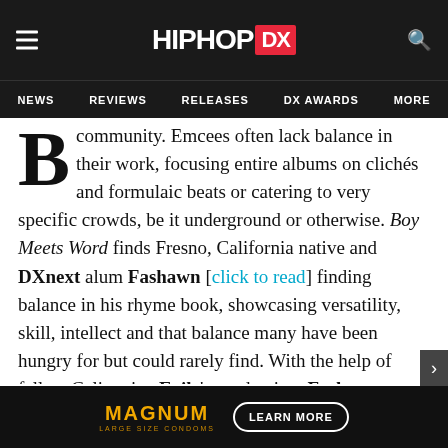HIPHOP DX — NEWS | REVIEWS | RELEASES | DX AWARDS | MORE
community. Emcees often lack balance in their work, focusing entire albums on clichés and formulaic beats or catering to very specific crowds, be it underground or otherwise. Boy Meets Word finds Fresno, California native and DXnext alum Fashawn [click to read] finding balance in his rhyme book, showcasing versatility, skill, intellect and that balance many have been hungry for but could rarely find. With the help of fellow Cali native Exile's production, Fashawn delivers one of this year's finest albums yet, hoping to supply food for thought for the new school while staying true to the culture's roots, balancing the lyrical and street aspects
[Figure (other): Magnum Large Size Condoms advertisement banner at bottom of page with LEARN MORE button]